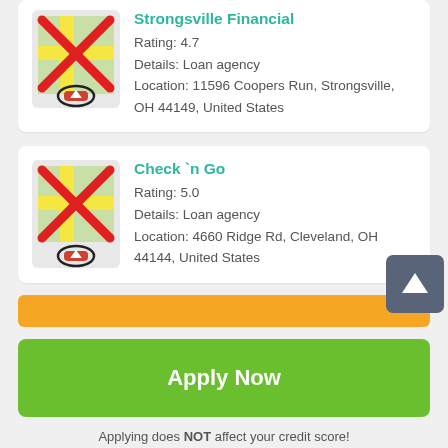[Figure (illustration): Map thumbnail with red X cross overlay and circled navigation icon, for Strongsville Financial]
Strongsville Financial
Rating: 4.7
Details: Loan agency
Location: 11596 Coopers Run, Strongsville, OH 44149, United States
[Figure (illustration): Map thumbnail with red X cross overlay and circled navigation icon, for Check 'n Go]
Check `n Go
Rating: 5.0
Details: Loan agency
Location: 4660 Ridge Rd, Cleveland, OH 44144, United States
[Figure (illustration): Scroll-to-top button with white upward arrow on dark grey background]
[Figure (illustration): Orange partially visible button at the bottom of the list section]
Apply Now
Applying does NOT affect your credit score!
No credit check to apply.